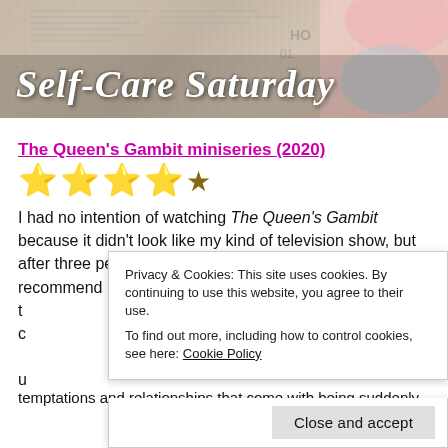[Figure (photo): Banner image with 'Self-Care Saturday' text in italic white font over a background showing newspaper and blurred pink/blue shapes]
The Queen's Gambit miniseries (2020)
⭐⭐⭐⭐★ (4 out of 5 stars)
I had no intention of watching The Queen's Gambit because it didn't look like my kind of television show, but after three people in one day went out of their way to recommend it, I...temptations and relationships that come with being suddenly
Privacy & Cookies: This site uses cookies. By continuing to use this website, you agree to their use. To find out more, including how to control cookies, see here: Cookie Policy
Close and accept